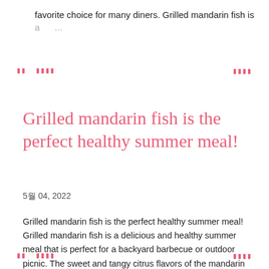favorite choice for many diners. Grilled mandarin fish is a ...
가나 나나나나 나나나나
Grilled mandarin fish is the perfect healthy summer meal!
5월 04, 2022
Grilled mandarin fish is the perfect healthy summer meal! Grilled mandarin fish is a delicious and healthy summer meal that is perfect for a backyard barbecue or outdoor picnic. The sweet and tangy citrus flavors of the mandarin orange are ...
가나 나나나나 나나나나